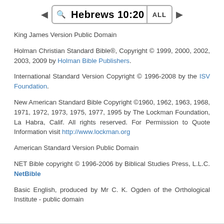Hebrews 10:20
King James Version Public Domain
Holman Christian Standard Bible®, Copyright © 1999, 2000, 2002, 2003, 2009 by Holman Bible Publishers.
International Standard Version Copyright © 1996-2008 by the ISV Foundation.
New American Standard Bible Copyright ©1960, 1962, 1963, 1968, 1971, 1972, 1973, 1975, 1977, 1995 by The Lockman Foundation, La Habra, Calif. All rights reserved. For Permission to Quote Information visit http://www.lockman.org
American Standard Version Public Domain
NET Bible copyright © 1996-2006 by Biblical Studies Press, L.L.C. NetBible
Basic English, produced by Mr C. K. Ogden of the Orthological Institute - public domain